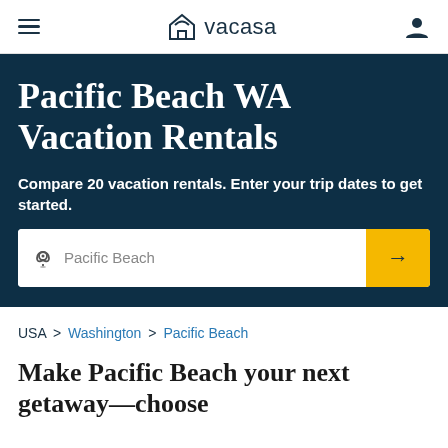vacasa
Pacific Beach WA Vacation Rentals
Compare 20 vacation rentals. Enter your trip dates to get started.
Pacific Beach
USA > Washington > Pacific Beach
Make Pacific Beach your next getaway—choose